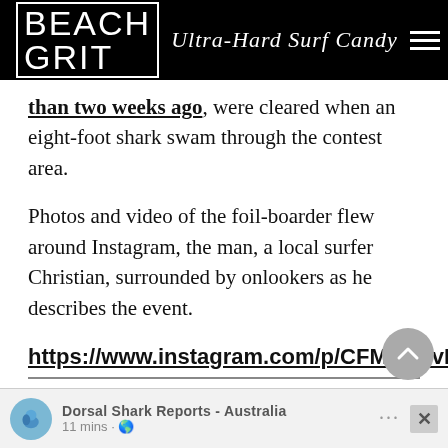BEACH GRIT Ultra-Hard Surf Candy
than two weeks ago, were cleared when an eight-foot shark swam through the contest area.
Photos and video of the foil-boarder flew around Instagram, the man, a local surfer Christian, surrounded by onlookers as he describes the event.
https://www.instagram.com/p/CFMGVxvDLE2/
Dorsal Watch reported a fifteen-to-eighteen-foot Great White, as big as they get, “a tank”, swimming through the lineup around the same time.
[Figure (screenshot): Dorsal Shark Reports - Australia Facebook/social post embed bar with avatar logo, post title, time (11 mins), globe icon, ellipsis menu and close button]